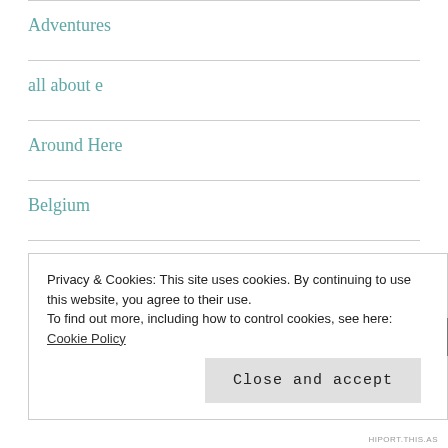Adventures
all about e
Around Here
Belgium
body talk
Books
Cats
Privacy & Cookies: This site uses cookies. By continuing to use this website, you agree to their use.
To find out more, including how to control cookies, see here: Cookie Policy
Close and accept